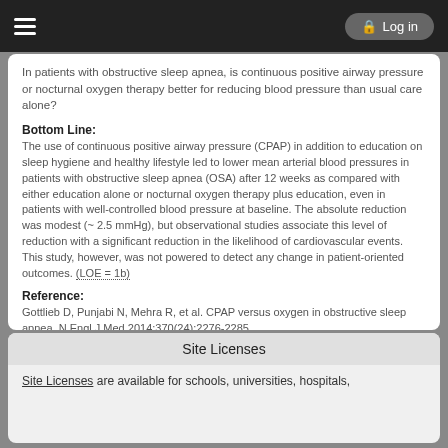Log in
In patients with obstructive sleep apnea, is continuous positive airway pressure or nocturnal oxygen therapy better for reducing blood pressure than usual care alone?
Bottom Line:
The use of continuous positive airway pressure (CPAP) in addition to education on sleep hygiene and healthy lifestyle led to lower mean arterial blood pressures in patients with obstructive sleep apnea (OSA) after 12 weeks as compared with either education alone or nocturnal oxygen therapy plus education, even in patients with well-controlled blood pressure at baseline. The absolute reduction was modest (~ 2.5 mmHg), but observational studies associate this level of reduction with a significant reduction in the likelihood of cardiovascular events. This study, however, was not powered to detect any change in patient-oriented outcomes. (LOE = 1b)
Reference:
Gottlieb D, Punjabi N, Mehra R, et al. CPAP versus oxygen in obstructive sleep apnea. N Engl J Med 2014;370(24):2276-2285. [PMID:24918372]
Study Design:
Randomized controlled trial (nonblinded)
Site Licenses
Site Licenses are available for schools, universities, hospitals,